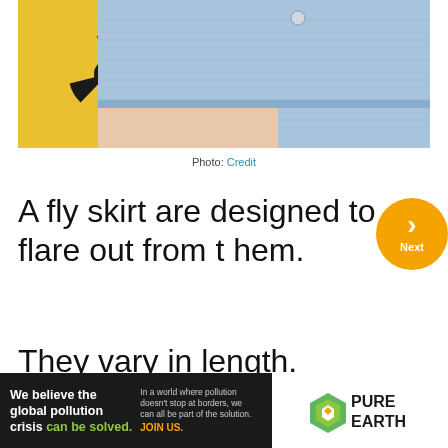[Figure (photo): Close-up photo of person wearing a light blue denim mini skirt, with a yellow background featuring a black radiation/hazard symbol]
Photo: Credit
A fly skirt are designed to flare out from the hem.
They vary in length.
[Figure (infographic): Pure Earth advertisement banner: 'We believe the global pollution crisis can be solved.' with text about pollution crossing borders and JOIN US call to action, featuring Pure Earth logo]